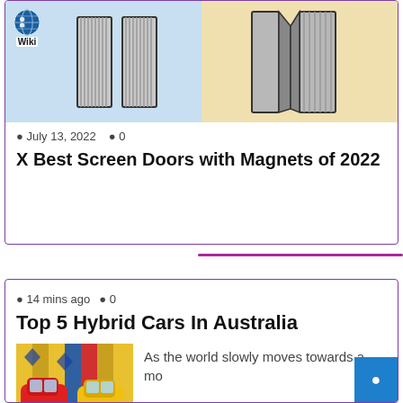[Figure (screenshot): Card showing screen door image with blue/beige background and Wiki logo badge]
July 13, 2022   0
X Best Screen Doors with Magnets of 2022
14 mins ago   0
Top 5 Hybrid Cars In Australia
[Figure (photo): Photo of two small colorful Fiat 500 cars (red and yellow) parked in front of a colorful wall]
As the world slowly moves towards a mo